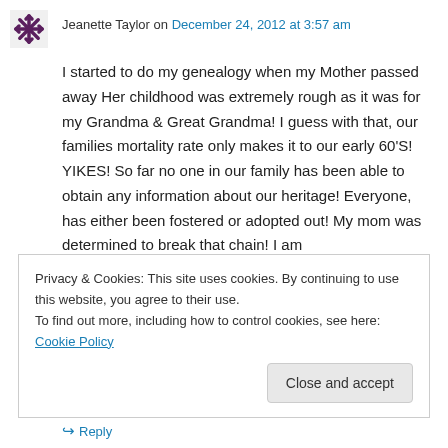[Figure (illustration): Dark purple snowflake/asterisk avatar icon for user Jeanette Taylor]
Jeanette Taylor on December 24, 2012 at 3:57 am
I started to do my genealogy when my Mother passed away Her childhood was extremely rough as it was for my Grandma & Great Grandma! I guess with that, our families mortality rate only makes it to our early 60'S! YIKES! So far no one in our family has been able to obtain any information about our heritage! Everyone, has either been fostered or adopted out! My mom was determined to break that chain! I am
Privacy & Cookies: This site uses cookies. By continuing to use this website, you agree to their use.
To find out more, including how to control cookies, see here: Cookie Policy
Close and accept
↪ Reply